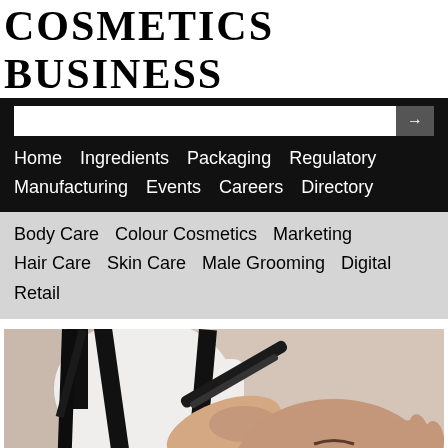COSMETICS BUSINESS
Home  Ingredients  Packaging  Regulatory  Manufacturing  Events  Careers  Directory
Body Care  Colour Cosmetics  Marketing  Hair Care  Skin Care  Male Grooming  Digital  Retail
[Figure (photo): Close-up photo of a barber using a straight razor to shave a bearded man's face. The barber wears a white shirt with suspenders. The customer is reclined with closed eyes.]